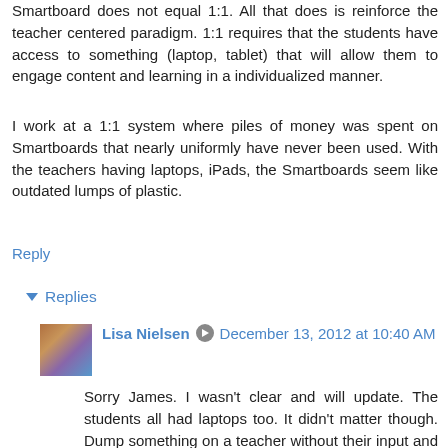Smartboard does not equal 1:1. All that does is reinforce the teacher centered paradigm. 1:1 requires that the students have access to something (laptop, tablet) that will allow them to engage content and learning in a individualized manner.
I work at a 1:1 system where piles of money was spent on Smartboards that nearly uniformly have never been used. With the teachers having laptops, iPads, the Smartboards seem like outdated lumps of plastic.
Reply
Replies
Lisa Nielsen  December 13, 2012 at 10:40 AM
Sorry James. I wasn't clear and will update. The students all had laptops too. It didn't matter though. Dump something on a teacher without their input and well, they feel dumped on...unless by chance it was something they already wanted.